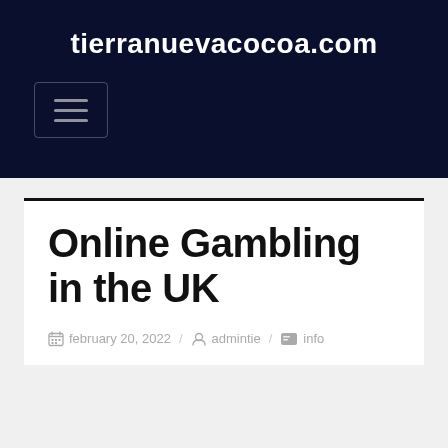tierranuevacocoa.com
[Figure (screenshot): Hamburger menu button icon with three horizontal lines inside a bordered rectangle]
Online Gambling in the UK
february 20, 2022  admintie  info